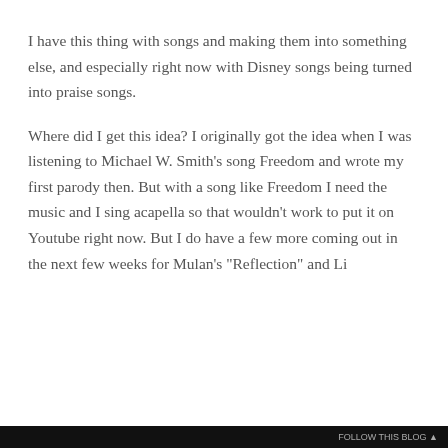I have this thing with songs and making them into something else, and especially right now with Disney songs being turned into praise songs.
Where did I get this idea? I originally got the idea when I was listening to Michael W. Smith's song Freedom and wrote my first parody then. But with a song like Freedom I need the music and I sing acapella so that wouldn't work to put it on Youtube right now. But I do have a few more coming out in the next few weeks for Mulan's "Reflection" and Li...
Privacy & Cookies: This site uses cookies. By continuing to use this website, you agree to their use.
To find out more, including how to control cookies, see here: Cookie Policy
Close and accept